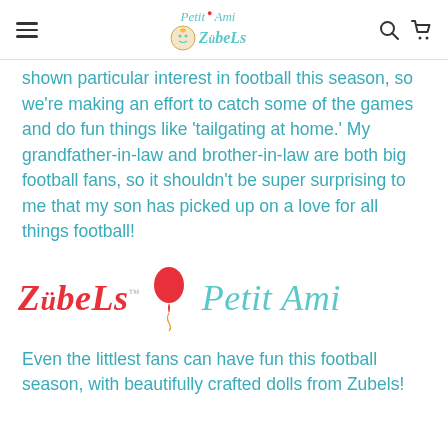Petit Ami Zubels — navigation header with hamburger menu, logo, search and cart icons
shown particular interest in football this season, so we're making an effort to catch some of the games and do fun things like 'tailgating at home.' My grandfather-in-law and brother-in-law are both big football fans, so it shouldn't be super surprising to me that my son has picked up on a love for all things football!
[Figure (logo): Zubels and Petit Ami brand logos side by side with a red balloon illustration between them]
Even the littlest fans can have fun this football season, with beautifully crafted dolls from Zubels!